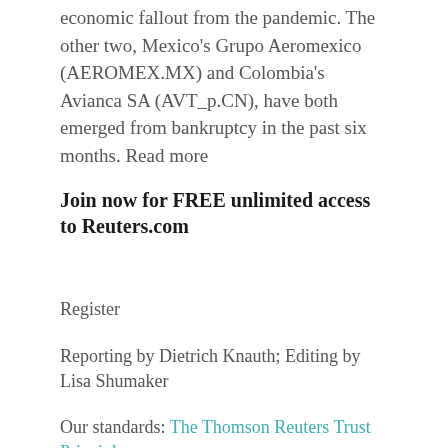economic fallout from the pandemic. The other two, Mexico's Grupo Aeromexico (AEROMEX.MX) and Colombia's Avianca SA (AVT_p.CN), have both emerged from bankruptcy in the past six months. Read more
Join now for FREE unlimited access to Reuters.com
Register
Reporting by Dietrich Knauth; Editing by Lisa Shumaker
Our standards: The Thomson Reuters Trust Principles.
Related Posts:
CB timeshare condos land $8.3 million bid at bankruptcy auction
To avoid bankruptcy, Sri Lanka may have to get...